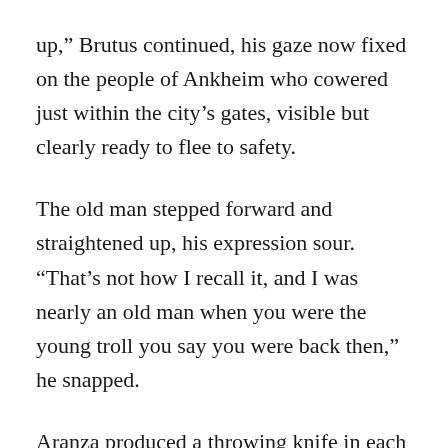up,” Brutus continued, his gaze now fixed on the people of Ankheim who cowered just within the city’s gates, visible but clearly ready to flee to safety.
The old man stepped forward and straightened up, his expression sour. “That’s not how I recall it, and I was nearly an old man when you were the young troll you say you were back then,” he snapped.
Aranza produced a throwing knife in each hand, prepared to strike. “Give me a reason,” she hissed. “Just one.”